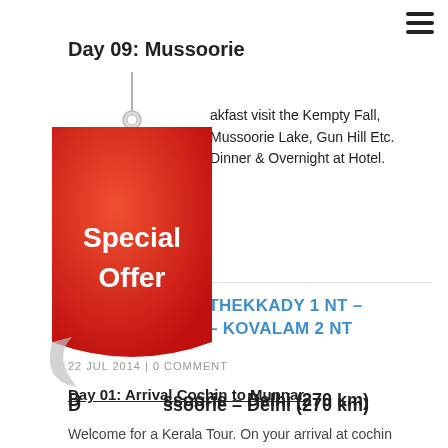Day 09: Mussoorie
After breakfast visit the Kempty Fall, Mussoorie Lake, Gun Hill Etc. Dinner & Overnight at Hotel.
[Figure (illustration): Red special offer tag/badge with white text reading 'Special Offer']
Day 10: Mussoorie – Delhi (270 km)
After breakfast drive to Delhi. On arrival drop at the Railway Station / Airport.
MUNNAR 2 NT – THEKKADY 1 NT – ALLEPPEY 1 NT – KOVALAM 2 NT
22 JUL 2014 | 0 COMMENT
Day 01: Arrival Cochin to Munnar
Welcome for a Kerala Tour. On your arrival at cochin